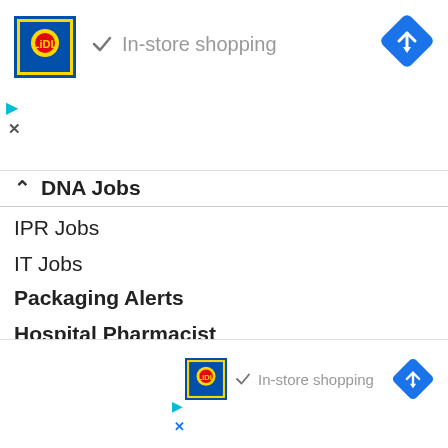[Figure (screenshot): Top Lidl advertisement banner with logo, checkmark, 'In-store shopping' text, and blue navigation diamond icon]
DNA Jobs
IPR Jobs
IT Jobs
Packaging Alerts
Hospital Pharmacist
JOBS BY QUALIFICATION
D.Pharm Alerts
B.Pharm Alerts
B.Sc Ale...
M.Pharm...
M.Sc Ale...
MBA Ale...
[Figure (screenshot): Bottom Lidl advertisement overlay with logo, checkmark, 'In-store shopping' text, and blue navigation diamond icon]